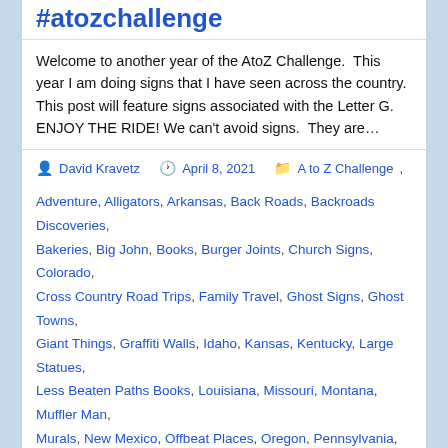#atozchallenge
Welcome to another year of the AtoZ Challenge.  This year I am doing signs that I have seen across the country.  This post will feature signs associated with the Letter G. ENJOY THE RIDE! We can't avoid signs.  They are…
David Kravetz | April 8, 2021 | A to Z Challenge
Adventure, Alligators, Arkansas, Back Roads, Backroads Discoveries, Bakeries, Big John, Books, Burger Joints, Church Signs, Colorado, Cross Country Road Trips, Family Travel, Ghost Signs, Ghost Towns, Giant Things, Graffiti Walls, Idaho, Kansas, Kentucky, Large Statues, Less Beaten Paths Books, Louisiana, Missouri, Montana, Muffler Man, Murals, New Mexico, Offbeat Places, Oregon, Pennsylvania, Place Names, Post Offices, Quirky Things, Roadside Attractions, Roadsigns, Route 66, Selfies, Signs and Billboards, South Dakota, Tennessee, Texas, Tourist Traps, Travel Blogging, Unique Eatery, Unique Houses, Uniroyal Gal, Wall Art, Welcome Signs, West Virginia, Wisconsin, Wyoming